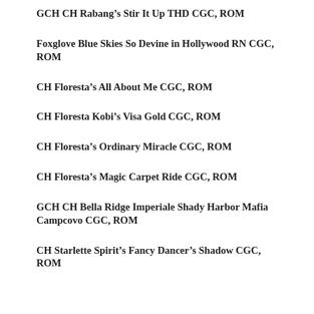GCH CH Rabang’s Stir It Up THD CGC, ROM
Foxglove Blue Skies So Devine in Hollywood RN CGC, ROM
CH Floresta’s All About Me CGC, ROM
CH Floresta Kobi’s Visa Gold CGC, ROM
CH Floresta’s Ordinary Miracle CGC, ROM
CH Floresta’s Magic Carpet Ride CGC, ROM
GCH CH Bella Ridge Imperiale Shady Harbor Mafia Campcovo CGC, ROM
CH Starlette Spirit’s Fancy Dancer’s Shadow CGC, ROM